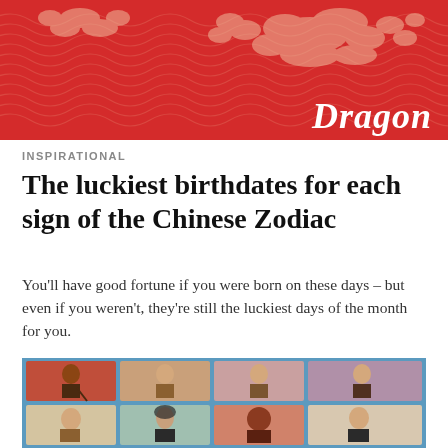[Figure (illustration): Red banner with Chinese decorative pattern (clouds and scrollwork in cream/pink) and the word 'Dragon' in white italic serif font at bottom right]
INSPIRATIONAL
The luckiest birthdates for each sign of the Chinese Zodiac
You'll have good fortune if you were born on these days – but even if you weren't, they're still the luckiest days of the month for you.
[Figure (illustration): Grid of illustrated cartoon portraits of famous figures on colored square backgrounds arranged in rows, with a blue grid frame. Portraits include elderly and historical figures.]